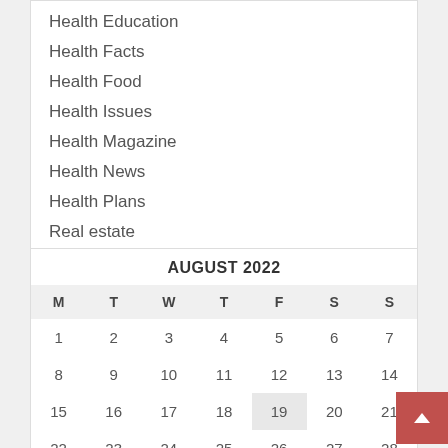Health Education
Health Facts
Health Food
Health Issues
Health Magazine
Health News
Health Plans
Real estate
| M | T | W | T | F | S | S |
| --- | --- | --- | --- | --- | --- | --- |
| 1 | 2 | 3 | 4 | 5 | 6 | 7 |
| 8 | 9 | 10 | 11 | 12 | 13 | 14 |
| 15 | 16 | 17 | 18 | 19 | 20 | 21 |
| 22 | 23 | 24 | 25 | 26 | 27 | 28 |